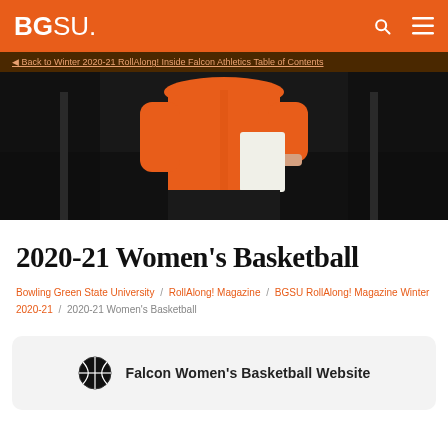BGSU
◀ Back to Winter 2020-21 RollAlong! Inside Falcon Athletics Table of Contents
[Figure (photo): Photo of a person wearing an orange jacket holding papers, shown from chest down, against a dark background]
2020-21 Women's Basketball
Bowling Green State University / RollAlong! Magazine / BGSU RollAlong! Magazine Winter 2020-21 / 2020-21 Women's Basketball
Falcon Women's Basketball Website